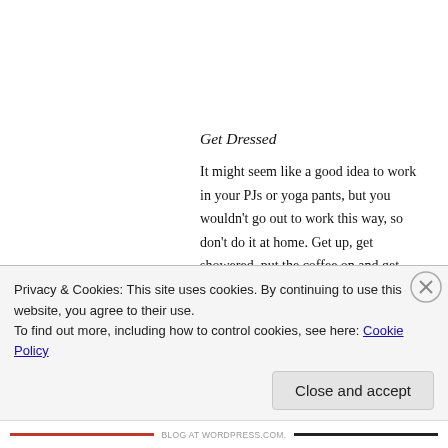Get Dressed
It might seem like a good idea to work in your PJs or yoga pants, but you wouldn't go out to work this way, so don't do it at home. Get up, get showered, put the coffee on and get dressed and this will give you a work ready feel, and save blushes with the postman or unexpected Skype calls from clients.
Meditate
We believe that if you take a little time to meditate during the working day, it will give you headspace to
Privacy & Cookies: This site uses cookies. By continuing to use this website, you agree to their use.
To find out more, including how to control cookies, see here: Cookie Policy
Close and accept